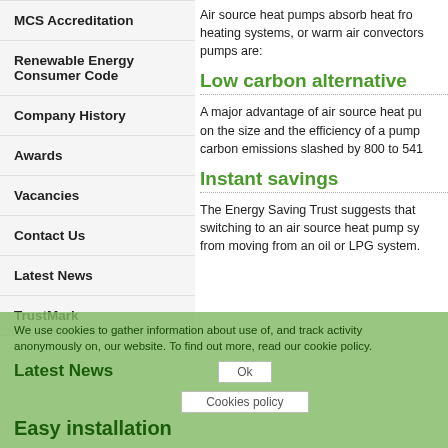MCS Accreditation
Renewable Energy Consumer Code
Company History
Awards
Vacancies
Contact Us
Latest News
TrustMark
Air source heat pumps absorb heat from... heating systems, or warm air convectors... pumps are:
Low carbon alternative
A major advantage of air source heat pu... on the size and the efficiency of a pump... carbon emissions slashed by 800 to 541...
Instant savings
The Energy Saving Trust suggests that... switching to an air source heat pump sy... from moving from an oil or LPG system.
We use cookies to gather information about use of, and track activity anonymously on, our website. To find out more, read our cookie policy.
Latest News
Easy installation